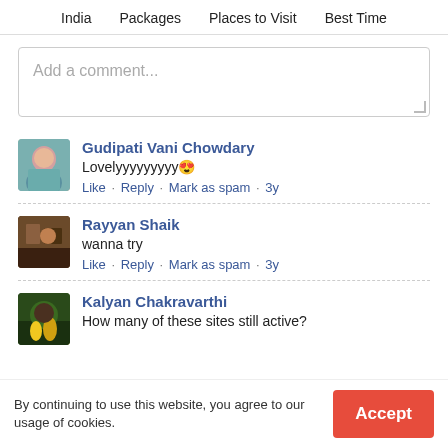India   Packages   Places to Visit   Best Time
Add a comment...
Gudipati Vani Chowdary
Lovelyyyyyyyyy😍
Like · Reply · Mark as spam · 3y
Rayyan Shaik
wanna try
Like · Reply · Mark as spam · 3y
Kalyan Chakravarthi
How many of these sites still active?
By continuing to use this website, you agree to our usage of cookies.